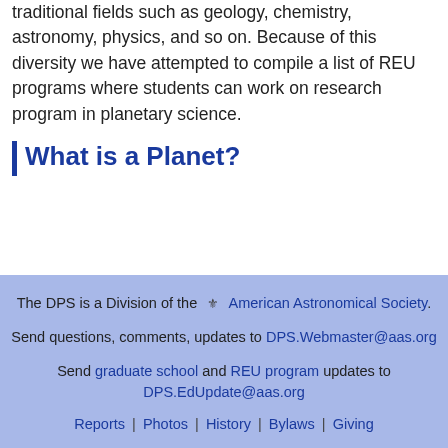traditional fields such as geology, chemistry, astronomy, physics, and so on. Because of this diversity we have attempted to compile a list of REU programs where students can work on research program in planetary science.
What is a Planet?
The DPS is a Division of the ⚘ American Astronomical Society.
Send questions, comments, updates to DPS.Webmaster@aas.org
Send graduate school and REU program updates to DPS.EdUpdate@aas.org
Reports | Photos | History | Bylaws | Giving